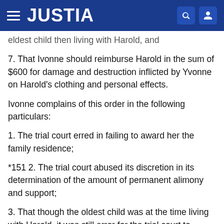JUSTIA
eldest child then living with Harold, and
7. That Ivonne should reimburse Harold in the sum of $600 for damage and destruction inflicted by Yvonne on Harold's clothing and personal effects.
Ivonne complains of this order in the following particulars:
1. The trial court erred in failing to award her the family residence;
*151 2. The trial court abused its discretion in its determination of the amount of permanent alimony and support;
3. That though the oldest child was at the time living with Harold, it was still error for the trial court to award support money for only the two children then actually